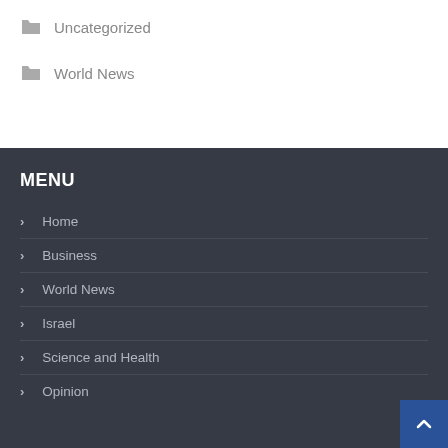Uncategorized
World News
MENU
Home
Business
World News
Israel
Science and Health
Opinion